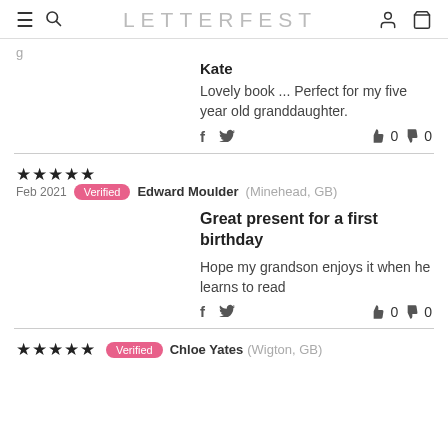LETTERFEST
Kate
Lovely book ... Perfect for my five year old granddaughter.
f  y  👍 0  👎 0
★★★★★  Verified  Edward Moulder (Minehead, GB)  Feb 2021
Great present for a first birthday
Hope my grandson enjoys it when he learns to read
f  y  👍 0  👎 0
★★★★★  Verified  Chloe Yates (Wigton, GB)